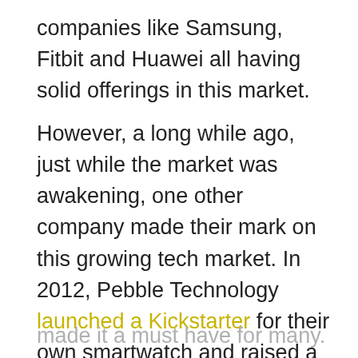companies like Samsung, Fitbit and Huawei all having solid offerings in this market.
However, a long while ago, just while the market was awakening, one other company made their mark on this growing tech market. In 2012, Pebble Technology launched a Kickstarter for their own smartwatch and raised a then record $10 million to create the Pebble watch. The watch shipped to backers in 2013, and although it received mixed reviews, it had a wonderful black and white e-paper display. This, teamed with a great battery life and customizable clock faces,
made it a must have for many.